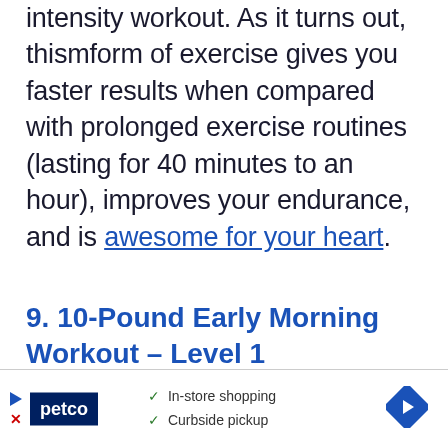you can get from a short but high-intensity workout. As it turns out, thismform of exercise gives you faster results when compared with prolonged exercise routines (lasting for 40 minutes to an hour), improves your endurance, and is awesome for your heart.
9. 10-Pound Early Morning Workout – Level 1
[Figure (other): Petco advertisement banner showing logo, in-store shopping and curbside pickup checkmarks, and navigation arrow]